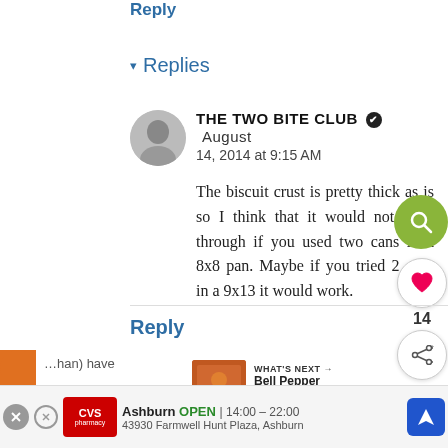Reply
▾ Replies
THE TWO BITE CLUB ✔ August 14, 2014 at 9:15 AM
The biscuit crust is pretty thick as is so I think that it would not cook through if you used two cans in a 8x8 pan. Maybe if you tried 2 cans in a 9x13 it would work.
Reply
WHAT'S NEXT → Bell Pepper Pizza Bites
Ashburn OPEN | 14:00 – 22:00  43930 Farmwell Hunt Plaza, Ashburn